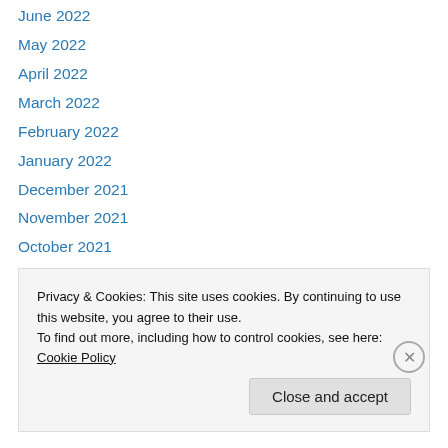June 2022
May 2022
April 2022
March 2022
February 2022
January 2022
December 2021
November 2021
October 2021
September 2021
August 2021
July 2021
June 2021
Privacy & Cookies: This site uses cookies. By continuing to use this website, you agree to their use. To find out more, including how to control cookies, see here: Cookie Policy
Close and accept